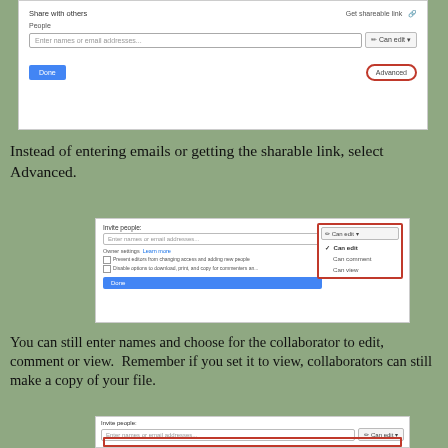[Figure (screenshot): Google Drive share dialog showing 'Share with others', 'Get shareable link', 'People' field, 'Enter names or email addresses' input, 'Can edit' dropdown, 'Done' button, and 'Advanced' button circled in red]
Instead of entering emails or getting the sharable link, select Advanced.
[Figure (screenshot): Google Drive Advanced sharing dialog showing 'Invite people' section, 'Enter names or email addresses' input, 'Can edit' dropdown button with a red-bordered dropdown showing 'Can edit' (checked), 'Can comment', 'Can view' options, 'Owner settings Learn more' section with checkboxes, and 'Done' button]
You can still enter names and choose for the collaborator to edit, comment or view.  Remember if you set it to view, collaborators can still make a copy of your file.
[Figure (screenshot): Partial screenshot of Google Drive sharing dialog showing 'Invite people' label, 'Enter names or email addresses' input, 'Can edit' dropdown button, and a red-bordered element at bottom (partially visible)]